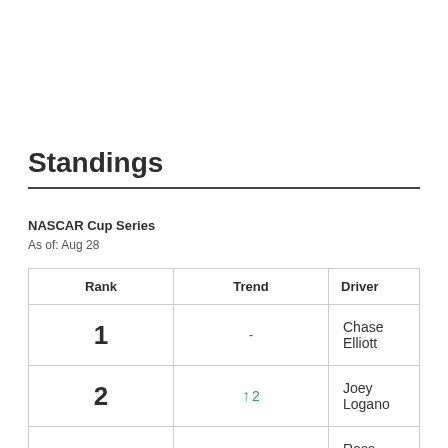Standings
NASCAR Cup Series
As of: Aug 28
| Rank | Trend | Driver |
| --- | --- | --- |
| 1 | - | Chase Elliott |
| 2 | ↑ 2 | Joey Logano |
| 3 | ↑ 2 | Ross Chastain |